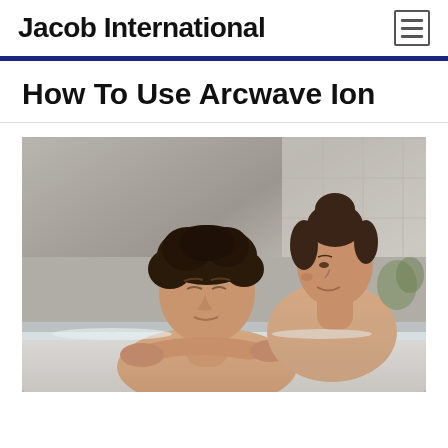Jacob International
How To Use Arcwave Ion
[Figure (photo): A couple relaxing in a bathtub. A man with curly dark hair leans back with eyes closed, while a woman with hair in a bun leans over him from behind, smiling. The setting appears to be a spa or bathroom environment.]